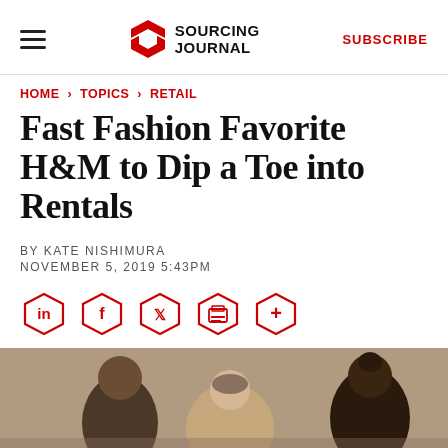SOURCING JOURNAL | SUBSCRIBE
HOME › TOPICS › RETAIL
Fast Fashion Favorite H&M to Dip a Toe into Rentals
BY KATE NISHIMURA
NOVEMBER 5, 2019 5:43PM
[Figure (illustration): Social share icons: LinkedIn, Facebook, Twitter, Print, More (hexagon shaped)]
[Figure (photo): Photo of people, partially visible at bottom of page]